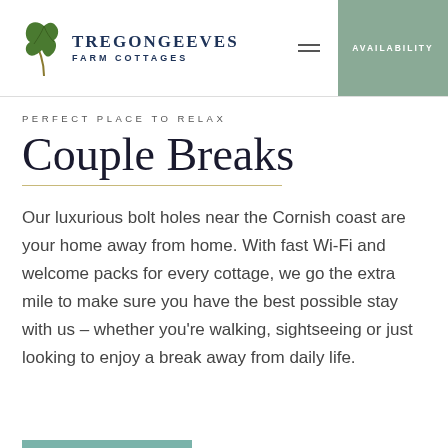[Figure (logo): Tregongeeves Farm Cottages logo with green oak leaf and dark blue text]
PERFECT PLACE TO RELAX
Couple Breaks
Our luxurious bolt holes near the Cornish coast are your home away from home. With fast Wi-Fi and welcome packs for every cottage, we go the extra mile to make sure you have the best possible stay with us – whether you're walking, sightseeing or just looking to enjoy a break away from daily life.